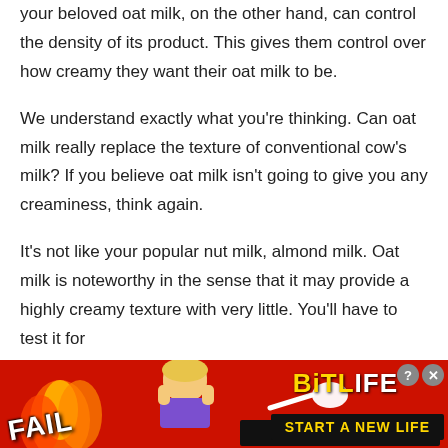your beloved oat milk, on the other hand, can control the density of its product. This gives them control over how creamy they want their oat milk to be.
We understand exactly what you're thinking. Can oat milk really replace the texture of conventional cow's milk? If you believe oat milk isn't going to give you any creaminess, think again.
It's not like your popular nut milk, almond milk. Oat milk is noteworthy in the sense that it may provide a highly creamy texture with very little. You'll have to test it for yourself to believe it.
[Figure (screenshot): Advertisement banner for BitLife game with 'FAIL' text, cartoon character, flames, and 'START A NEW LIFE' call to action on red background]